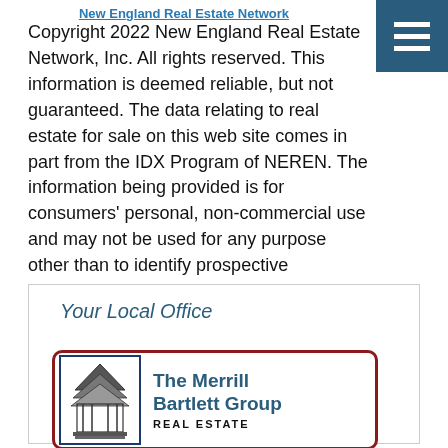New England Real Estate Network
Copyright 2022 New England Real Estate Network, Inc. All rights reserved. This information is deemed reliable, but not guaranteed. The data relating to real estate for sale on this web site comes in part from the IDX Program of NEREN. The information being provided is for consumers' personal, non-commercial use and may not be used for any purpose other than to identify prospective properties consumers may be interested in purchasing. Data last updated August 20, 2022 11:53 PM EDT.
Your Local Office
[Figure (logo): The Merrill Bartlett Group Real Estate logo with gazebo illustration inside a dark red rounded rectangle border]